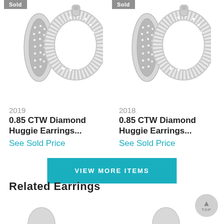[Figure (photo): Two diamond huggie earring product listings side by side. Left item labeled lot 2019, right item labeled lot 2018. Both show diamond-encrusted hoop earrings in white gold/silver with 'Sold' badges in upper corners.]
2019
0.85 CTW Diamond Huggie Earrings...
See Sold Price
2018
0.85 CTW Diamond Huggie Earrings...
See Sold Price
VIEW MORE ITEMS
Related Earrings